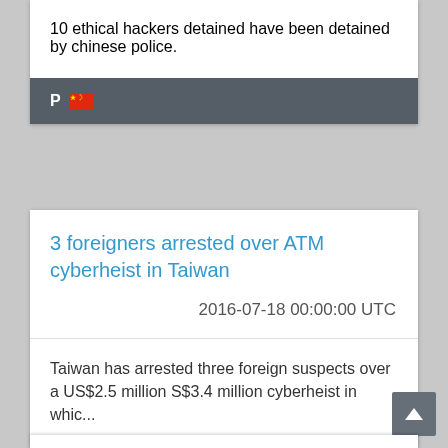10 ethical hackers detained have been detained by chinese police.
[Figure (other): Card footer with P label and Chinese flag icon]
3 foreigners arrested over ATM cyberheist in Taiwan
2016-07-18 00:00:00 UTC
Taiwan has arrested three foreign suspects over a US$2.5 million S$3.4 million cyberheist in whic...
[Figure (other): Card footer with P label and unknown flag/country icon]
[Figure (other): Scroll to top button with upward arrow]